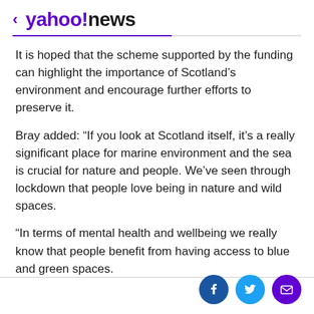< yahoo!news
It is hoped that the scheme supported by the funding can highlight the importance of Scotland’s environment and encourage further efforts to preserve it.
Bray added: “If you look at Scotland itself, it’s a really significant place for marine environment and the sea is crucial for nature and people. We’ve seen through lockdown that people love being in nature and wild spaces.
“In terms of mental health and wellbeing we really know that people benefit from having access to blue and green spaces.